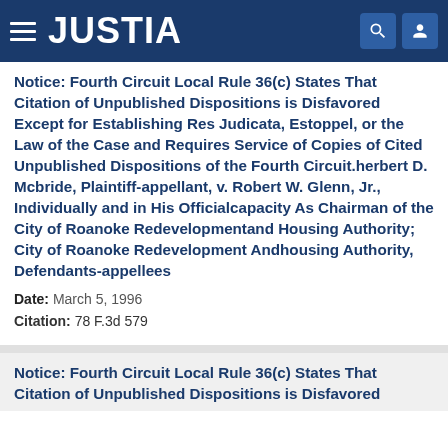JUSTIA
Notice: Fourth Circuit Local Rule 36(c) States That Citation of Unpublished Dispositions is Disfavored Except for Establishing Res Judicata, Estoppel, or the Law of the Case and Requires Service of Copies of Cited Unpublished Dispositions of the Fourth Circuit.herbert D. Mcbride, Plaintiff-appellant, v. Robert W. Glenn, Jr., Individually and in His Officialcapacity As Chairman of the City of Roanoke Redevelopmentand Housing Authority; City of Roanoke Redevelopment Andhousing Authority, Defendants-appellees
Date: March 5, 1996
Citation: 78 F.3d 579
Notice: Fourth Circuit Local Rule 36(c) States That Citation of Unpublished Dispositions is Disfavored